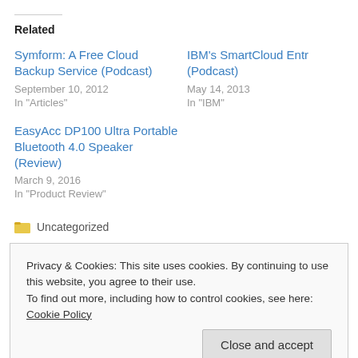Related
Symform: A Free Cloud Backup Service (Podcast)
September 10, 2012
In "Articles"
IBM's SmartCloud Entr... (Podcast)
May 14, 2013
In "IBM"
EasyAcc DP100 Ultra Portable Bluetooth 4.0 Speaker (Review)
March 9, 2016
In "Product Review"
Uncategorized
Privacy & Cookies: This site uses cookies. By continuing to use this website, you agree to their use.
To find out more, including how to control cookies, see here: Cookie Policy
Close and accept